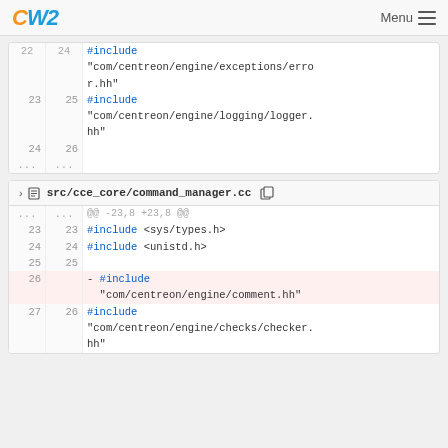OW2  Menu
| old | new | code |
| --- | --- | --- |
| 22 | 24 | #include "com/centreon/engine/exceptions/error.hh" |
| 23 | 25 | #include "com/centreon/engine/logging/logger.hh" |
| 24 | 26 |  |
| ... | ... |  |
src/cce_core/command_manager.cc
| old | new | code |
| --- | --- | --- |
| ... | ... | @@ -23,8 +23,8 @@ |
| 23 | 23 | #include <sys/types.h> |
| 24 | 24 | #include <unistd.h> |
| 25 | 25 |  |
| 26 |  | - #include "com/centreon/engine/comment.hh" |
| 27 | 26 | #include "com/centreon/engine/checks/checker.hh" |